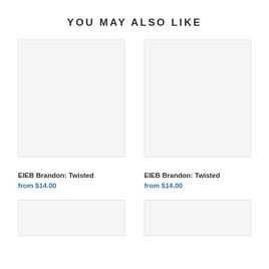YOU MAY ALSO LIKE
[Figure (photo): Empty product image placeholder (light gray box) for EIEB Brandon: Twisted]
EIEB Brandon: Twisted
from $14.00
[Figure (photo): Empty product image placeholder (light gray box) for EIEB Brandon: Twisted]
EIEB Brandon: Twisted
from $14.00
[Figure (photo): Empty product image placeholder (light gray box) — bottom left]
[Figure (photo): Empty product image placeholder (light gray box) — bottom right]